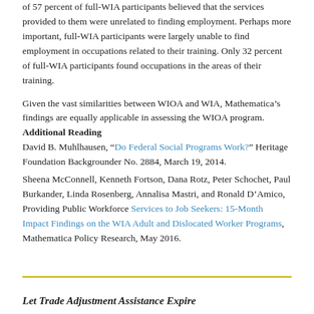of 57 percent of full-WIA participants believed that the services provided to them were unrelated to finding employment. Perhaps more important, full-WIA participants were largely unable to find employment in occupations related to their training. Only 32 percent of full-WIA participants found occupations in the areas of their training.
Given the vast similarities between WIOA and WIA, Mathematica’s findings are equally applicable in assessing the WIOA program.
Additional Reading
David B. Muhlhausen, “Do Federal Social Programs Work?” Heritage Foundation Backgrounder No. 2884, March 19, 2014.
Sheena McConnell, Kenneth Fortson, Dana Rotz, Peter Schochet, Paul Burkander, Linda Rosenberg, Annalisa Mastri, and Ronald D’Amico, Providing Public Workforce Services to Job Seekers: 15-Month Impact Findings on the WIA Adult and Dislocated Worker Programs, Mathematica Policy Research, May 2016.
Let Trade Adjustment Assistance Expire